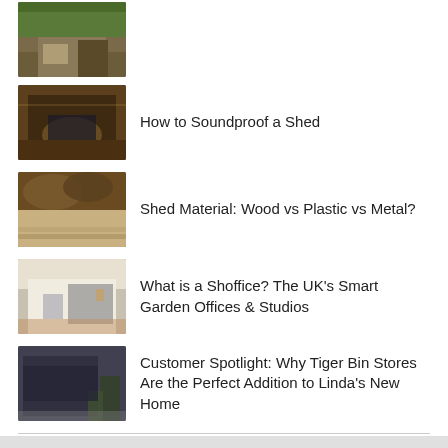[Figure (photo): Small wooden shed exterior, partially visible at top of page]
[Figure (photo): Wooden shed interior with warm lighting and car inside]
How to Soundproof a Shed
[Figure (photo): Stacked logs and shed floor/wall detail]
Shed Material: Wood vs Plastic vs Metal?
[Figure (photo): Garden office/shoffice exterior with person working inside]
What is a Shoffice? The UK's Smart Garden Offices & Studios
[Figure (photo): Dark green bin store with plants, outdoors]
Customer Spotlight: Why Tiger Bin Stores Are the Perfect Addition to Linda's New Home
PRESS CONTACTS
Imagery, information, ideas, influencers? Please contact pr@tigersheds.com